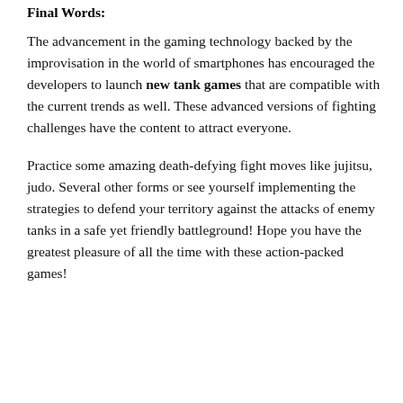Final Words:
The advancement in the gaming technology backed by the improvisation in the world of smartphones has encouraged the developers to launch new tank games that are compatible with the current trends as well. These advanced versions of fighting challenges have the content to attract everyone.
Practice some amazing death-defying fight moves like jujitsu, judo. Several other forms or see yourself implementing the strategies to defend your territory against the attacks of enemy tanks in a safe yet friendly battleground! Hope you have the greatest pleasure of all the time with these action-packed games!